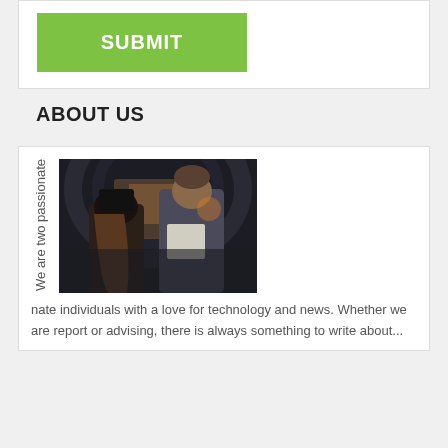SUBMIT
ABOUT US
[Figure (photo): Two young people (a woman with long hair wearing a dark beanie hat and a man with styled hair) standing in what appears to be a tunnel or underpass with an arched ceiling. Urban street scene visible in background.]
We are two passionate individuals with a love for technology and news. Whether we are report or advising, there is always something to write about...